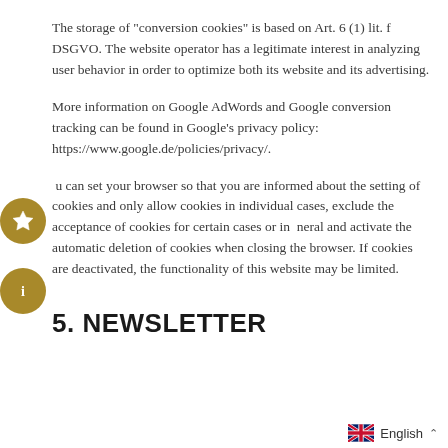The storage of "conversion cookies" is based on Art. 6 (1) lit. f DSGVO. The website operator has a legitimate interest in analyzing user behavior in order to optimize both its website and its advertising.
More information on Google AdWords and Google conversion tracking can be found in Google's privacy policy: https://www.google.de/policies/privacy/.
You can set your browser so that you are informed about the setting of cookies and only allow cookies in individual cases, exclude the acceptance of cookies for certain cases or in general and activate the automatic deletion of cookies when closing the browser. If cookies are deactivated, the functionality of this website may be limited.
5. NEWSLETTER
English